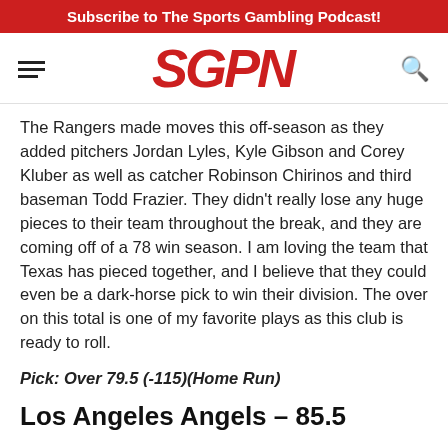Subscribe to The Sports Gambling Podcast!
[Figure (logo): SGPN logo in red italic bold text with hamburger menu icon on left and search icon on right]
The Rangers made moves this off-season as they added pitchers Jordan Lyles, Kyle Gibson and Corey Kluber as well as catcher Robinson Chirinos and third baseman Todd Frazier. They didn't really lose any huge pieces to their team throughout the break, and they are coming off of a 78 win season. I am loving the team that Texas has pieced together, and I believe that they could even be a dark-horse pick to win their division. The over on this total is one of my favorite plays as this club is ready to roll.
Pick: Over 79.5 (-115)(Home Run)
Los Angeles Angels – 85.5